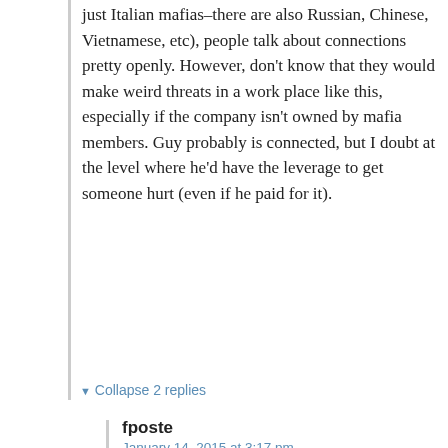just Italian mafias–there are also Russian, Chinese, Vietnamese, etc), people talk about connections pretty openly. However, don't know that they would make weird threats in a work place like this, especially if the company isn't owned by mafia members. Guy probably is connected, but I doubt at the level where he'd have the leverage to get someone hurt (even if he paid for it).
▼ Collapse 2 replies
fposte
January 14, 2015 at 3:17 pm
Similar in old-school Chicago, but there you didn't have "connections," you had clout. Or a guy clouting for you. Or a clout in the relevant city office.
▼ Collapse 1 reply
[Figure (other): Seamless food delivery advertisement banner with pizza image on left, red Seamless logo badge in center, and ORDER NOW button on right, against dark background. CLOSE button in top right corner.]